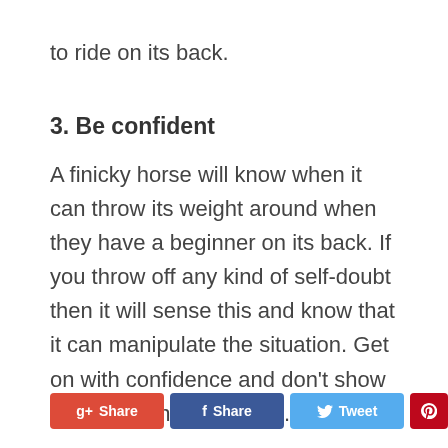to ride on its back.
3. Be confident
A finicky horse will know when it can throw its weight around when they have a beginner on its back. If you throw off any kind of self-doubt then it will sense this and know that it can manipulate the situation. Get on with confidence and don’t show that you’re not in control.
g+ Share  f Share  Tweet  Pinterest 0